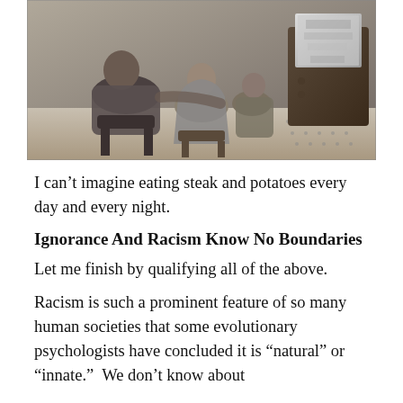[Figure (photo): Black and white photograph of a family (adults and children) sitting with their backs to the camera, watching an old television set in a living room setting.]
I can't imagine eating steak and potatoes every day and every night.
Ignorance And Racism Know No Boundaries
Let me finish by qualifying all of the above.
Racism is such a prominent feature of so many human societies that some evolutionary psychologists have concluded it is “natural” or “innate.”  We don’t know about